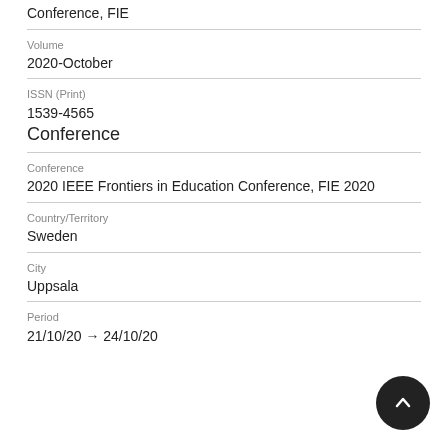Conference, FIE
Volume
2020-October
ISSN (Print)
1539-4565
Conference
Conference
2020 IEEE Frontiers in Education Conference, FIE 2020
Country/Territory
Sweden
City
Uppsala
Period
21/10/20 → 24/10/20